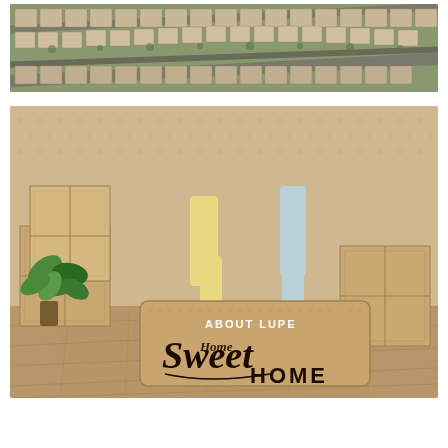[Figure (photo): Aerial view of a suburban neighborhood with rows of houses seen from above]
[Figure (photo): Photo of people standing on a wooden floor with moving boxes and a green plant, with a welcome doormat reading 'ABOUT LUPE Home Sweet Home']